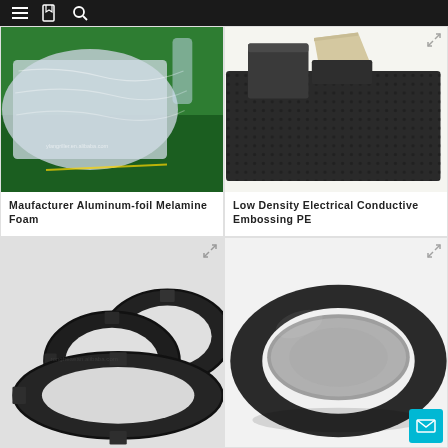Navigation header with hamburger menu, bookmark icon, and search icon
[Figure (photo): Aluminum foil wrapped packages on a green surface, product wrapped in clear plastic film]
Maufacturer Aluminum-foil Melamine Foam
[Figure (photo): Dark black/grey low density electrical conductive embossing PE foam sheets and blocks on white background]
Low Density Electrical Conductive Embossing PE
[Figure (photo): Black foam rubber rings/gaskets on white background]
[Figure (photo): Grey oval foam sponge pad with black foam ring holder on white background]